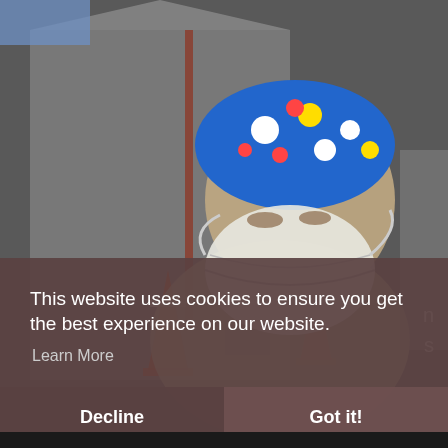[Figure (photo): A healthcare worker wearing a blue polka-dot surgical cap and white N95 respirator mask, shown in profile. Orange traffic cones and a white tent are visible in the background, suggesting an outdoor medical testing or vaccination site.]
This website uses cookies to ensure you get the best experience on our website.
Learn More
Decline
Got it!